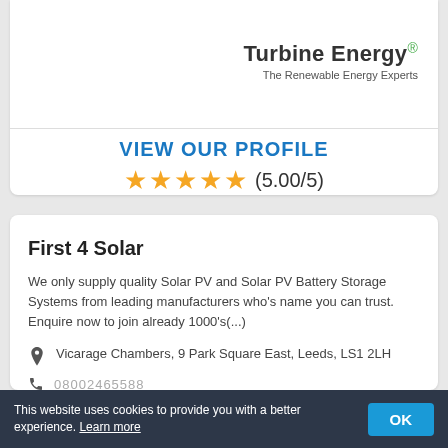[Figure (logo): Turbine Energy logo with registered trademark symbol and tagline 'The Renewable Energy Experts']
VIEW OUR PROFILE
★★★★★ (5.00/5)
First 4 Solar
We only supply quality Solar PV and Solar PV Battery Storage Systems from leading manufacturers who's name you can trust. Enquire now to join already 1000's(...)
Vicarage Chambers, 9 Park Square East, Leeds, LS1 2LH
08002465588
This website uses cookies to provide you with a better experience. Learn more